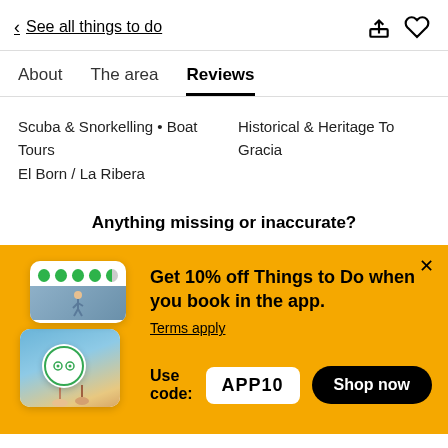< See all things to do
About   The area   Reviews
Scuba & Snorkelling • Boat Tours
El Born / La Ribera
Historical & Heritage To
Gracia
Anything missing or inaccurate?
[Figure (screenshot): TripAdvisor promotional banner with app mockup images showing green rating dots and a photo of a person hiking and women at the beach.]
Get 10% off Things to Do when you book in the app.
Terms apply
Use code: APP10
Shop now